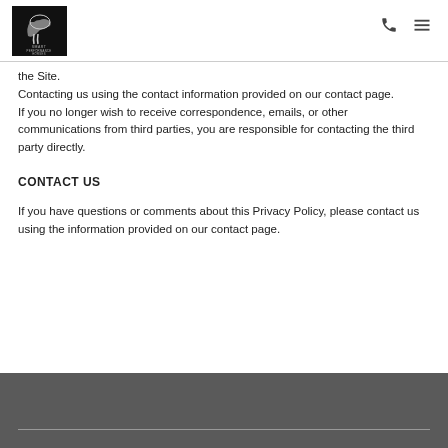Smart Performance Horses [logo] [phone icon] [menu icon]
the Site.
Contacting us using the contact information provided on our contact page.
If you no longer wish to receive correspondence, emails, or other communications from third parties, you are responsible for contacting the third party directly.
CONTACT US
If you have questions or comments about this Privacy Policy, please contact us using the information provided on our contact page.